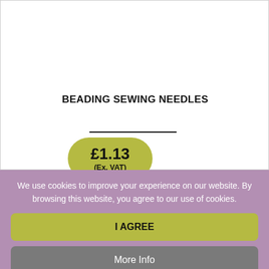BEADING SEWING NEEDLES
£1.13
(Ex. VAT)
We use cookies to improve your experience on our website. By browsing this website, you agree to our use of cookies.
I AGREE
More Info